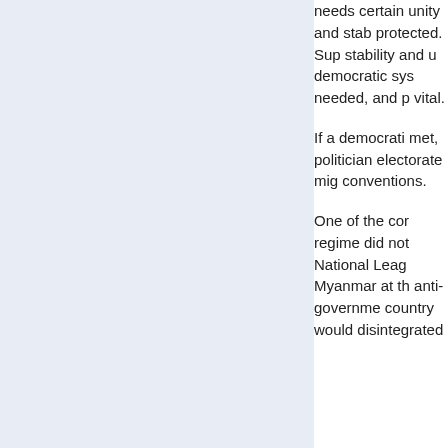needs certain unity and stability protected. Sup stability and u democratic sys needed, and p vital.
If a democratic met, politician electorate mig conventions.
One of the cor regime did not National Leag Myanmar at th anti-governme country would disintegrated